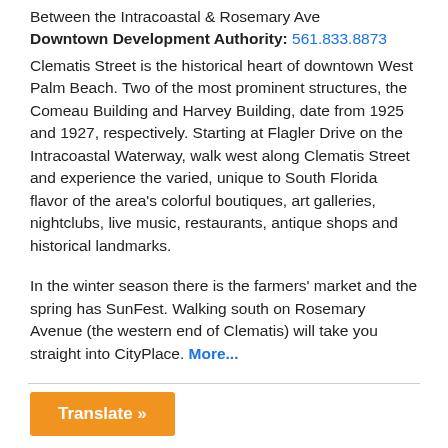Between the Intracoastal & Rosemary Ave
Downtown Development Authority: 561.833.8873
Clematis Street is the historical heart of downtown West Palm Beach. Two of the most prominent structures, the Comeau Building and Harvey Building, date from 1925 and 1927, respectively. Starting at Flagler Drive on the Intracoastal Waterway, walk west along Clematis Street and experience the varied, unique to South Florida flavor of the area's colorful boutiques, art galleries, nightclubs, live music, restaurants, antique shops and historical landmarks.
In the winter season there is the farmers' market and the spring has SunFest. Walking south on Rosemary Avenue (the western end of Clematis) will take you straight into CityPlace. More...
Translate »